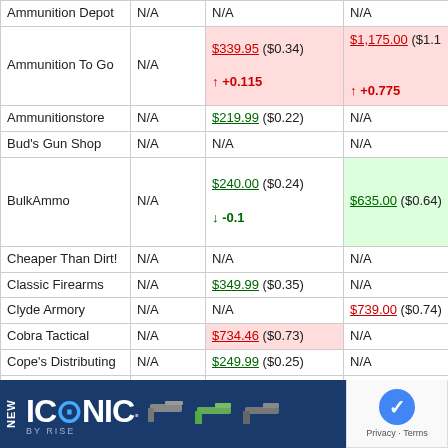| Retailer | Col2 | Col3 | Col4 |
| --- | --- | --- | --- |
| Ammunition Depot | N/A | N/A | N/A |
| Ammunition To Go | N/A | $339.95 ($0.34)
↑ +0.115 | $1,175.00 ($1.18)
↑ +0.775 |
| Ammunitionstore | N/A | $219.99 ($0.22) | N/A |
| Bud's Gun Shop | N/A | N/A | N/A |
| BulkAmmo | N/A | $240.00 ($0.24)
↓ -0.1 | $635.00 ($0.64) |
| Cheaper Than Dirt! | N/A | N/A | N/A |
| Classic Firearms | N/A | $349.99 ($0.35) | N/A |
| Clyde Armory | N/A | N/A | $739.00 ($0.74) |
| Cobra Tactical | N/A | $734.46 ($0.73) | N/A |
| Cope's Distributing | N/A | $249.99 ($0.25) | N/A |
| DSG Arms | N/A | $440.00 ($0.44)
↑ +0.061 | N/A |
| Dunn's S... Goods | N/A |  |  |